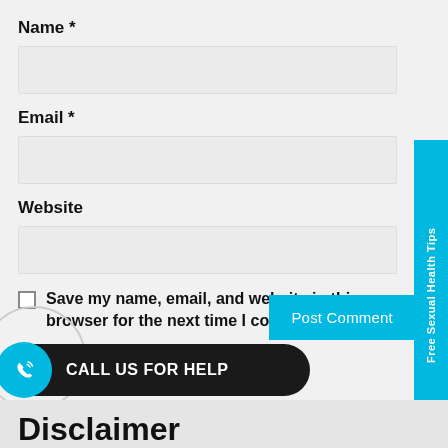Name *
[Figure (other): Name input field (empty, light gray background)]
Email *
[Figure (other): Email input field (empty, light gray background)]
Website
[Figure (other): Website input field (empty, light gray background)]
Save my name, email, and website in this browser for the next time I comment.
[Figure (infographic): Post Comment button (cyan/blue background, white text)]
[Figure (infographic): Sidebar vertical tab reading 'Free Sexual Health Tips' on cyan background]
[Figure (infographic): Call us for help button bar with WhatsApp icon on dark background]
Disclaimer